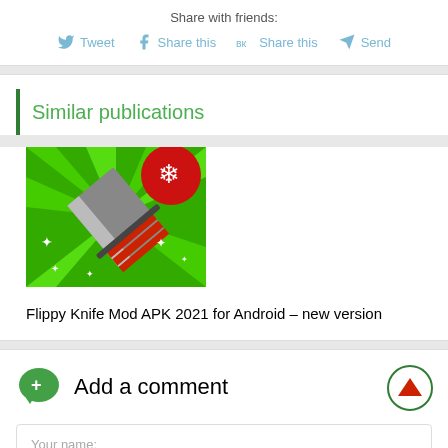Share with friends:
Tweet  Share this  Share this  Send
Similar publications
[Figure (photo): Flippy Knife game app icon with knife on green background and snowflake]
Flippy Knife Mod APK 2021 for Android – new version
Add a comment
Your name: